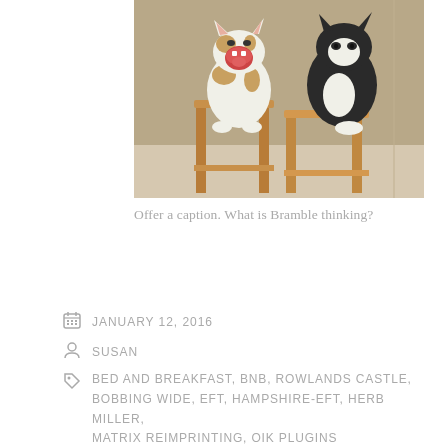[Figure (photo): Two cats sitting on wooden stools. One white-and-brown cat on the left is yawning with its mouth wide open, and one black-and-white cat on the right is sitting calmly.]
Offer a caption. What is Bramble thinking?
JANUARY 12, 2016
SUSAN
BED AND BREAKFAST, BNB, ROWLANDS CASTLE, BOBBING WIDE, EFT, HAMPSHIRE-EFT, HERB MILLER, MATRIX REIMPRINTING, OIK PLUGINS